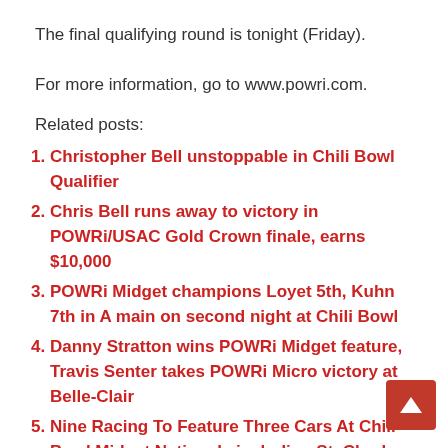The final qualifying round is tonight (Friday).
For more information, go to www.powri.com.
Related posts:
Christopher Bell unstoppable in Chili Bowl Qualifier
Chris Bell runs away to victory in POWRi/USAC Gold Crown finale, earns $10,000
POWRi Midget champions Loyet 5th, Kuhn 7th in A main on second night at Chili Bowl
Danny Stratton wins POWRi Midget feature, Travis Senter takes POWRi Micro victory at Belle-Clair
Nine Racing To Feature Three Cars At Chili Bowl Midget Nationals including St. Charles, MO's Kyle Steffens!
Clauson wins 2nd straight in POWRi Midgets, Miller